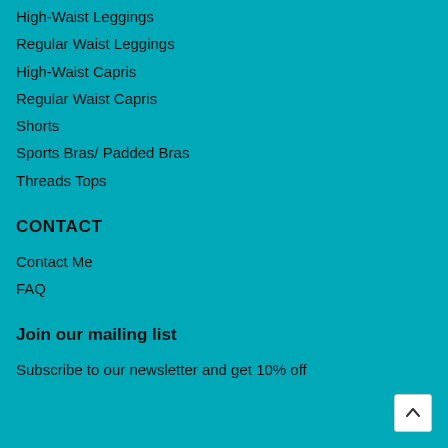High-Waist Leggings
Regular Waist Leggings
High-Waist Capris
Regular Waist Capris
Shorts
Sports Bras/ Padded Bras
Threads Tops
CONTACT
Contact Me
FAQ
Join our mailing list
Subscribe to our newsletter and get 10% off